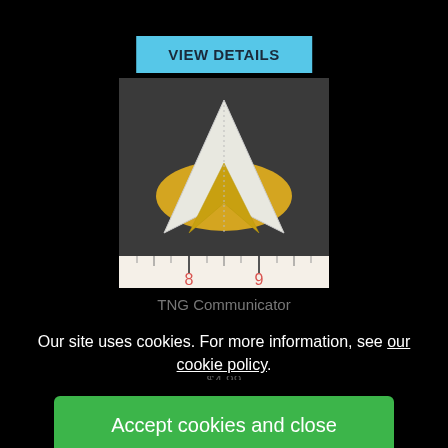[Figure (screenshot): A cyan/light blue button labeled VIEW DETAILS on black background]
[Figure (photo): A Star Trek TNG Communicator badge embroidered patch on a dark background, shown next to a ruler measuring between 8 and 9 inches]
TNG Communicator
Our site uses cookies. For more information, see our cookie policy.
[Figure (screenshot): Accept cookies and close green button, with Reject cookies and Manage settings grey buttons below]